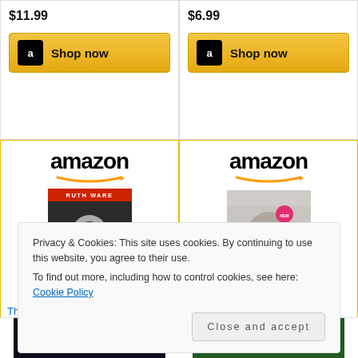$11.99
Shop now
$6.99
Shop now
[Figure (screenshot): Amazon product card for 'The Turn of the Key' by Ruth Ware. Shows Amazon logo, book cover image, title link in blue, price $9.99, and partial shop now button.]
[Figure (screenshot): Amazon product card for 'The Bronze Horseman...' by Paullina Simons. Shows Amazon logo, book cover image, title link in blue, price $9.49, and partial shop now button.]
The Turn of the Key
$9.99
The Bronze Horseman...
$9.49
Privacy & Cookies: This site uses cookies. By continuing to use this website, you agree to their use.
To find out more, including how to control cookies, see here: Cookie Policy
Close and accept
[Figure (photo): Bottom partial book cover showing 'LAURA SIMS' author name on dark background]
[Figure (photo): Bottom partial book cover showing 'HUGO' text on green background]